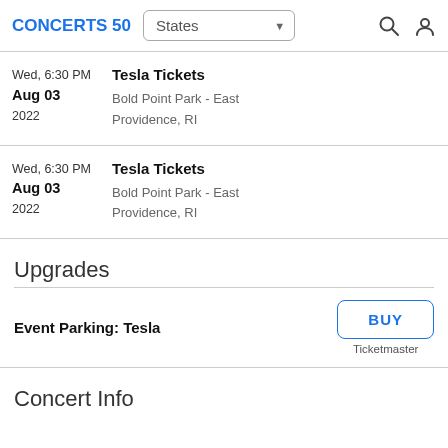CONCERTS 50  States
Wed, 6:30 PM
Aug 03
2022
Tesla Tickets
Bold Point Park - East
Providence, RI
Wed, 6:30 PM
Aug 03
2022
Tesla Tickets
Bold Point Park - East
Providence, RI
Upgrades
Event Parking: Tesla
BUY
Ticketmaster
Concert Info